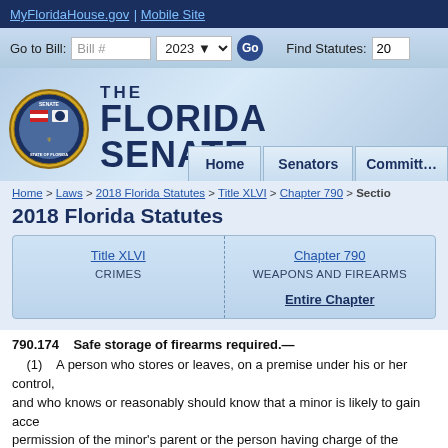MyFloridaHouse.gov | Mobile Site
[Figure (screenshot): Florida Senate navigation bar with Go to Bill input, year dropdown 2023, Go button, Find Statutes input]
[Figure (logo): Florida Senate seal/logo circular emblem with state flag imagery]
THE FLORIDA SENATE
[Figure (screenshot): Navigation tabs: Home | Senators | Committees]
Home > Laws > 2018 Florida Statutes > Title XLVI > Chapter 790 > Section
2018 Florida Statutes
Title XLVI
CRIMES
Chapter 790
WEAPONS AND FIREARMS
Entire Chapter
790.174    Safe storage of firearms required.—
(1)    A person who stores or leaves, on a premise under his or her control, and who knows or reasonably should know that a minor is likely to gain access without permission of the minor's parent or the person having charge of the minor, on shall keep the firearm in a securely locked box or container or in a location w